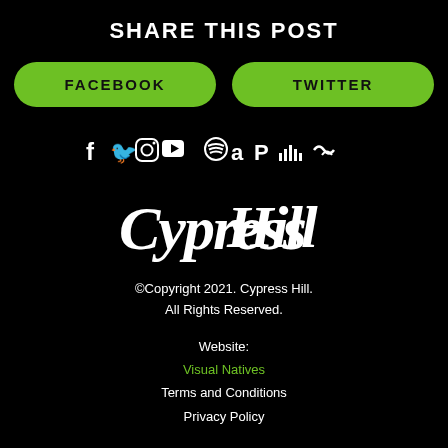SHARE THIS POST
[Figure (other): Two green rounded rectangle buttons side by side: FACEBOOK and TWITTER]
[Figure (other): Row of social media icons: Facebook, Twitter, Instagram, YouTube, Apple, Spotify, Amazon, Pandora, Deezer, Tidal]
[Figure (logo): Cypress Hill stylized white logo]
©Copyright 2021. Cypress Hill. All Rights Reserved.
Website:
Visual Natives
Terms and Conditions
Privacy Policy